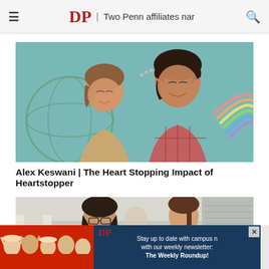DP | Two Penn affiliates nar
[Figure (photo): Two young people facing each other and smiling, with chalk drawings of a globe and a heart on a teal background behind them, and a rainbow on the right side.]
Alex Keswani | The Heart Stopping Impact of Heartstopper
[Figure (photo): Students indoors at an event; a person in a yellow shirt is visible in the foreground with others in background.]
[Figure (photo): Advertisement banner: DP logo with text 'Stay up to date with campus n with our weekly newsletter: The Weekly Roundup!']